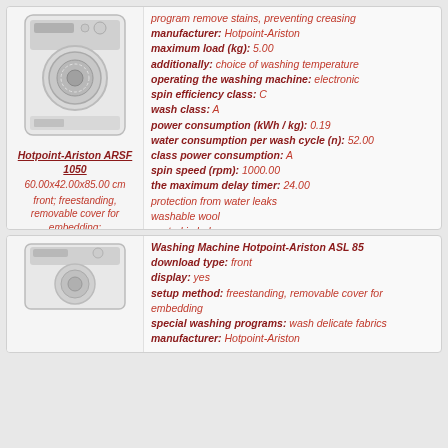[Figure (photo): Photo of Hotpoint-Ariston ARSF 1050 washing machine, front-loading, white]
Hotpoint-Ariston ARSF 1050
60.00x42.00x85.00 cm
front; freestanding, removable cover for embedding;
program remove stains, preventing creasing
manufacturer: Hotpoint-Ariston
maximum load (kg): 5.00
additionally: choice of washing temperature
operating the washing machine: electronic
spin efficiency class: C
wash class: A
power consumption (kWh / kg): 0.19
water consumption per wash cycle (n): 52.00
class power consumption: A
spin speed (rpm): 1000.00
the maximum delay timer: 24.00
protection from water leaks
washable wool
control imbalance
ability to select the spin speed
control the level of foam
protection of children
timer
width (cm): 60.00
depth (cm): 42.00
height (cm): 85.00
color washing machine: white
more information
[Figure (photo): Photo of Hotpoint-Ariston ASL 85 washing machine, front-loading, white]
Washing Machine Hotpoint-Ariston ASL 85
download type: front
display: yes
setup method: freestanding, removable cover for embedding
special washing programs: wash delicate fabrics
manufacturer: Hotpoint-Ariston